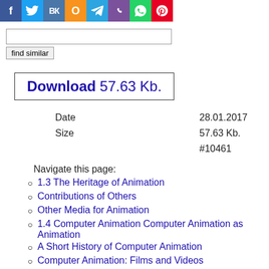[Figure (infographic): Social media sharing icons bar: Facebook (blue), Twitter (light blue), VK (steel blue), Odnoklassniki (orange), Telegram (cyan), Viber (purple), WhatsApp (green), Pinterest (red)]
find similar
Download 57.63 Kb.
| Date | 28.01.2017 |
| Size | 57.63 Kb. |
|  | #10461 |
Navigate this page:
1.3 The Heritage of Animation
Contributions of Others
Other Media for Animation
1.4 Computer Animation Computer Animation as Animation
A Short History of Computer Animation
Computer Animation: Films and Videos
1.5 Computer Animation Software